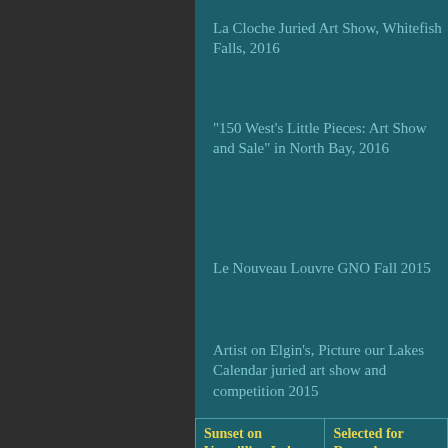La Cloche Juried Art Show, Whitefish Falls, 2016
"150 West's Little Pieces: Art Show and Sale" in North Bay, 2016
Le Nouveau Louvre GNO Fall 2015
Artist on Elgin's, Picture our Lakes Calendar juried art show and competition 2015
Sunset on Vermillion Lake Fish Huts
Selected for December
[Figure (photo): Photo of artist with framed painting]
[Figure (photo): Photo of a lake/landscape painting]